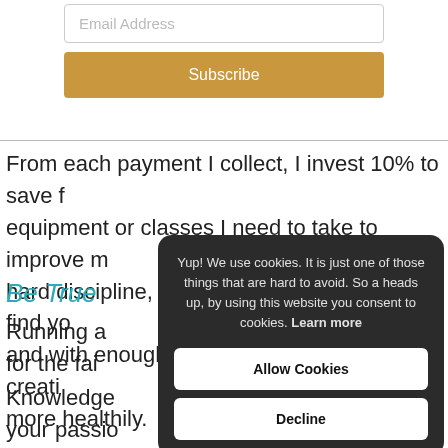Email Address
Subscribe
From each payment I collect, I invest 10% to save for equipment or classes I need to take to improve m… hard discipline, but — over time — you will find yo… and with enough resources to sustain your creati… more healthily.
Be True
Running a… for the fai…
Knowledge… your passio… successful creative in business.
Yup! We use cookies. It is just one of those things that are hard to avoid. So a heads up, by using this website you consent to cookies. Learn more
Allow Cookies
Decline